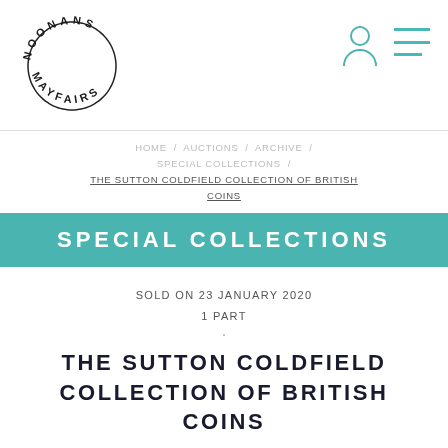[Figure (logo): Noonans Mayfair circular logo with text arranged in an arc]
HOME / AUCTIONS / ARCHIVE / SPECIAL COLLECTIONS / THE SUTTON COLDFIELD COLLECTION OF BRITISH COINS
SPECIAL COLLECTIONS
SOLD ON 23 JANUARY 2020
1 PART
THE SUTTON COLDFIELD COLLECTION OF BRITISH COINS